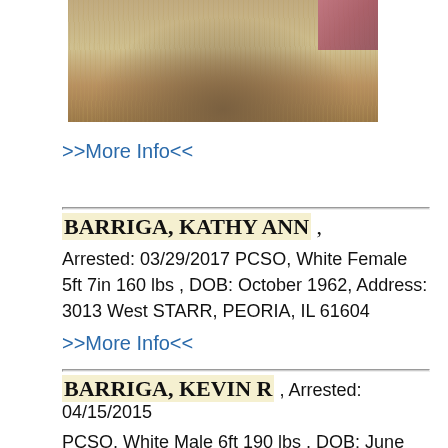[Figure (photo): Cropped mugshot photo showing top portion of a person with blonde/light hair against a background with pink/red element in upper right corner.]
>>More Info<<
BARRIGA, KATHY ANN , Arrested: 03/29/2017 PCSO, White Female 5ft 7in 160 lbs , DOB: October 1962, Address: 3013 West STARR, PEORIA, IL 61604
>>More Info<<
BARRIGA, KEVIN R , Arrested: 04/15/2015 PCSO, White Male 6ft 190 lbs , DOB: June